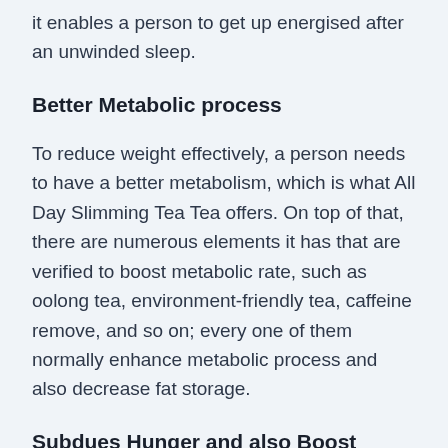it enables a person to get up energised after an unwinded sleep.
Better Metabolic process
To reduce weight effectively, a person needs to have a better metabolism, which is what All Day Slimming Tea Tea offers. On top of that, there are numerous elements it has that are verified to boost metabolic rate, such as oolong tea, environment-friendly tea, caffeine remove, and so on; every one of them normally enhance metabolic process and also decrease fat storage.
Subdues Hunger and also Boost much better Digestion